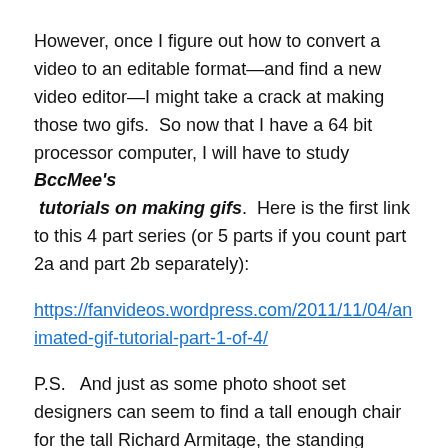However, once I figure out how to convert a video to an editable format—and find a new video editor—I might take a crack at making those two gifs.  So now that I have a 64 bit processor computer, I will have to study BccMee's  tutorials on making gifs.  Here is the first link to this 4 part series (or 5 parts if you count part 2a and part 2b separately):
https://fanvideos.wordpress.com/2011/11/04/animated-gif-tutorial-part-1-of-4/
P.S.   And just as some photo shoot set designers can seem to find a tall enough chair for the tall Richard Armitage, the standing mirror in this video is way too short for him (even though it appears to be on some stand)—he is ducking his head to see himself in the mirror.  They could have at least angled the mirror a bit more for him